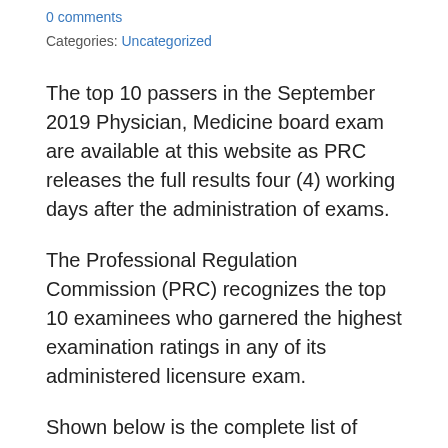0 comments
Categories: Uncategorized
The top 10 passers in the September 2019 Physician, Medicine board exam are available at this website as PRC releases the full results four (4) working days after the administration of exams.
The Professional Regulation Commission (PRC) recognizes the top 10 examinees who garnered the highest examination ratings in any of its administered licensure exam.
Shown below is the complete list of September 2019 Medicine top 10 examinees including the school